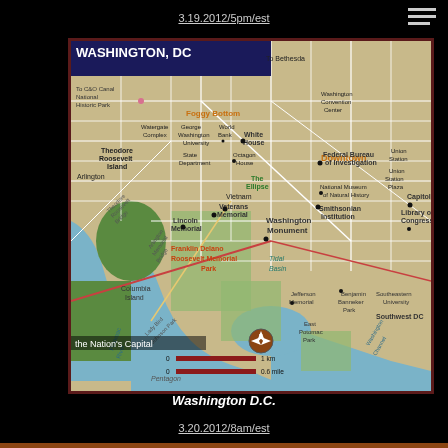3.19.2012/5pm/est
[Figure (map): Map of Washington DC showing major landmarks, monuments, memorials, museums, parks, and districts including the White House, Washington Monument, Lincoln Memorial, Capitol, Smithsonian Institution, Library of Congress, Federal Bureau of Investigation, National Museum of Natural History, Jefferson Memorial, Vietnam Veterans Memorial, and various other points of interest. Map includes a scale bar showing 1 km / 0.6 mile and a compass rose. Text reads 'the Nation's Capital'.]
Washington D.C.
3.20.2012/8am/est